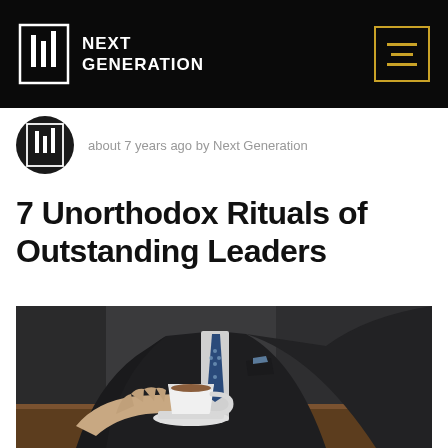NEXT GENERATION
about 7 years ago by Next Generation
7 Unorthodox Rituals of Outstanding Leaders
[Figure (photo): A man in a dark suit with a blue tie holding a white coffee cup on a wooden table]